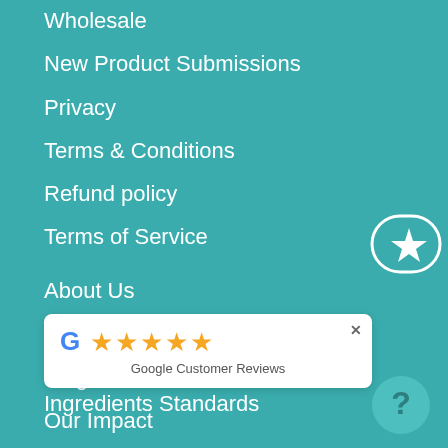Wholesale
New Product Submissions
Privacy
Terms & Conditions
Refund policy
Terms of Service
About Us
About Us
Blog
Our Impact
[Figure (other): Google Customer Reviews badge with 5 gold stars and Google G logo, with a close (x) button]
Ingredients Standards
[Figure (other): Round teal help button with question mark icon, bottom right corner]
[Figure (other): Partially visible star/badge icon on the right edge of the page]